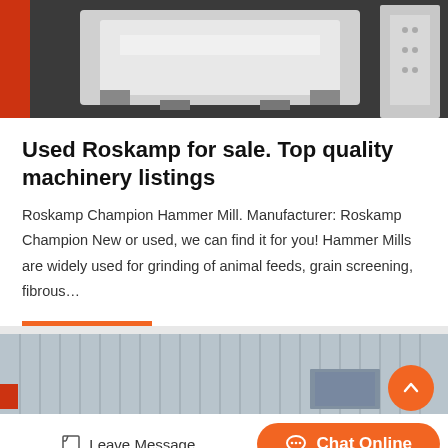[Figure (photo): Industrial machinery photo showing white metal equipment on a dark floor]
Used Roskamp for sale. Top quality machinery listings
Roskamp Champion Hammer Mill. Manufacturer: Roskamp Champion New or used, we can find it for you! Hammer Mills are widely used for grinding of animal feeds, grain screening, fibrous…
[Figure (other): Orange Get Price button]
[Figure (photo): Industrial building exterior with corrugated metal wall]
[Figure (other): Bottom navigation bar with Leave Message and Chat Online buttons]